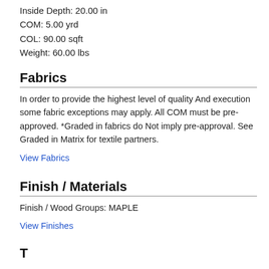Inside Depth: 20.00 in
COM: 5.00 yrd
COL: 90.00 sqft
Weight: 60.00 lbs
Fabrics
In order to provide the highest level of quality And execution some fabric exceptions may apply. All COM must be pre-approved. *Graded in fabrics do Not imply pre-approval. See Graded in Matrix for textile partners.
View Fabrics
Finish / Materials
Finish / Wood Groups: MAPLE
View Finishes
T...